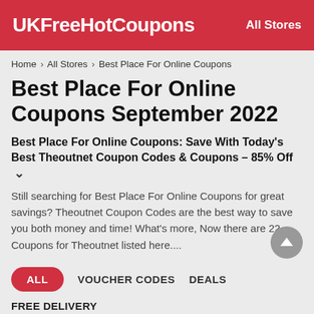UKFreeHotCoupons   All Stores
Home > All Stores > Best Place For Online Coupons
Best Place For Online Coupons September 2022
Best Place For Online Coupons: Save With Today's Best Theoutnet Coupon Codes & Coupons – 85% Off
Still searching for Best Place For Online Coupons for great savings? Theoutnet Coupon Codes are the best way to save you both money and time! What's more, Now there are 22 Coupons for Theoutnet listed here....
ALL
VOUCHER CODES
DEALS
FREE DELIVERY